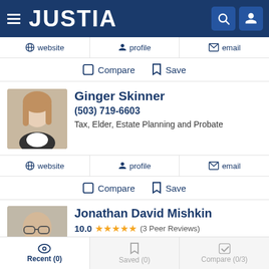JUSTIA
website  profile  email
Compare  Save
Ginger Skinner
(503) 719-6603
Tax, Elder, Estate Planning and Probate
website  profile  email
Compare  Save
Jonathan David Mishkin
10.0 ★★★★★ (3 Peer Reviews)
(503) 274-7849
Recent (0)  Saved (0)  Compare (0/3)